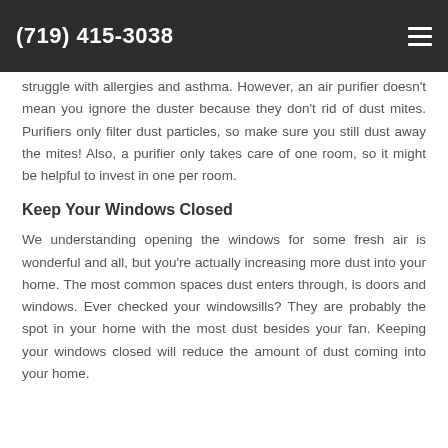(719) 415-3038
struggle with allergies and asthma. However, an air purifier doesn't mean you ignore the duster because they don't rid of dust mites. Purifiers only filter dust particles, so make sure you still dust away the mites! Also, a purifier only takes care of one room, so it might be helpful to invest in one per room.
Keep Your Windows Closed
We understanding opening the windows for some fresh air is wonderful and all, but you're actually increasing more dust into your home. The most common spaces dust enters through, is doors and windows. Ever checked your windowsills? They are probably the spot in your home with the most dust besides your fan. Keeping your windows closed will reduce the amount of dust coming into your home.